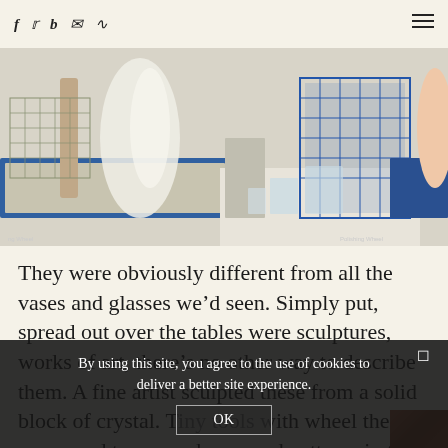f  [twitter]  b  [email]  [rss]  [menu]
[Figure (photo): Industrial glass polishing workshop with blue trays, machinery, wire mesh cages, and crystal glassware on a white table. Labels 'ng Wheel' (left) and 'Polishing Wheel' (right) visible at bottom.]
They were obviously different from all the vases and glasses we'd seen. Simply put, spread out over the tables were sculptures, works of art, there's no other way to describe them. A fine artist sculpted these from a solid block of crystal. Tiny tools with wheels the end were used to carve shapes and patterns in the crystal. Weeks and sometimes months were needed to create these objects...
By using this site, you agree to the use of cookies to deliver a better site experience.